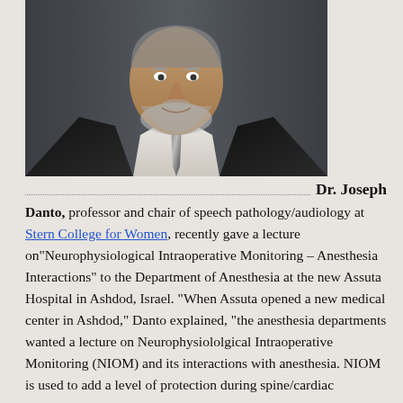[Figure (photo): Professional headshot of Dr. Joseph Danto, a middle-aged man with gray beard wearing a black suit and patterned tie, against a dark background.]
Dr. Joseph Danto, professor and chair of speech pathology/audiology at Stern College for Women, recently gave a lecture on“Neurophysiological Intraoperative Monitoring – Anesthesia Interactions” to the Department of Anesthesia at the new Assuta Hospital in Ashdod, Israel. “When Assuta opened a new medical center in Ashdod,” Danto explained, “the anesthesia departments wanted a lecture on Neurophysiololgical Intraoperative Monitoring (NIOM) and its interactions with anesthesia. NIOM is used to add a level of protection during spine/cardiac